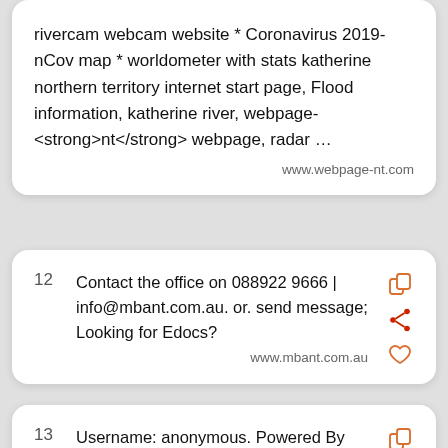rivercam webcam website * Coronavirus 2019-nCov map * worldometer with stats katherine northern territory internet start page, Flood information, katherine river, webpage-<strong>nt</strong></strong> webpage, radar …
www.webpage-nt.com
12  Contact the office on 088922 9666 | info@mbant.com.au. or. send message; Looking for Edocs?
www.mbant.com.au
13  Username: anonymous. Powered By Weave